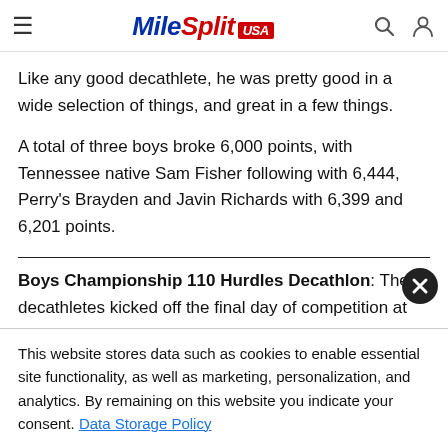MileSplit USA
Like any good decathlete, he was pretty good in a wide selection of things, and great in a few things.
A total of three boys broke 6,000 points, with Tennessee native Sam Fisher following with 6,444, Perry's Brayden and Javin Richards with 6,399 and 6,201 points.
Boys Championship 110 Hurdles Decathlon: The decathletes kicked off the final day of competition at adidas Outdoor
This website stores data such as cookies to enable essential site functionality, as well as marketing, personalization, and analytics. By remaining on this website you indicate your consent. Data Storage Policy